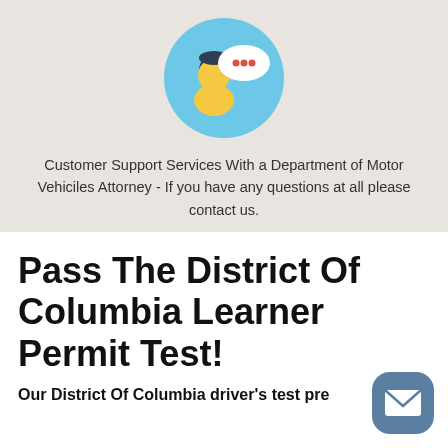[Figure (illustration): A circular light blue icon showing a person (flat illustration with dark hair and yellow face/body) with a white speech bubble containing three red dots, representing customer support chat.]
Customer Support Services With a Department of Motor Vehiciles Attorney - If you have any questions at all please contact us.
Pass The District Of Columbia Learner Permit Test!
Our District Of Columbia driver's test prep...